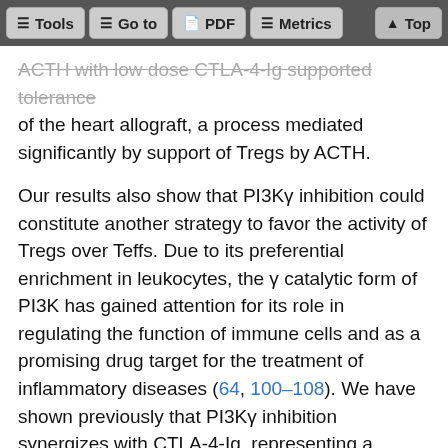Tools | Go to | PDF | Metrics | Top
ACTH with low dose CTLA-4-Ig supported tolerance of the heart allograft, a process mediated significantly by support of Tregs by ACTH.
Our results also show that PI3Kγ inhibition could constitute another strategy to favor the activity of Tregs over Teffs. Due to its preferential enrichment in leukocytes, the γ catalytic form of PI3K has gained attention for its role in regulating the function of immune cells and as a promising drug target for the treatment of inflammatory diseases (64, 100–108). We have shown previously that PI3Kγ inhibition synergizes with CTLA-4-Ig, representing a promising strategy to increase heart allograft acceptance (59). The PI3Kγ Inhibitor IPI-549 is administered to patients currently in several clinical trials (NCT03980041, NCT02637531, NCT03961698,